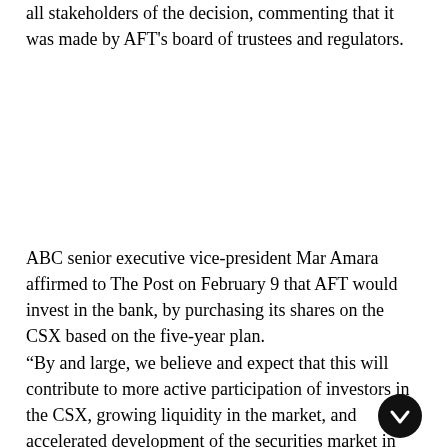all stakeholders of the decision, commenting that it was made by AFT's board of trustees and regulators.
ABC senior executive vice-president Mar Amara affirmed to The Post on February 9 that AFT would invest in the bank, by purchasing its shares on the CSX based on the five-year plan.
“By and large, we believe and expect that this will contribute to more active participation of investors in the CSX, growing liquidity in the market, and accelerated development of the securities market in Cambodia,” she said.